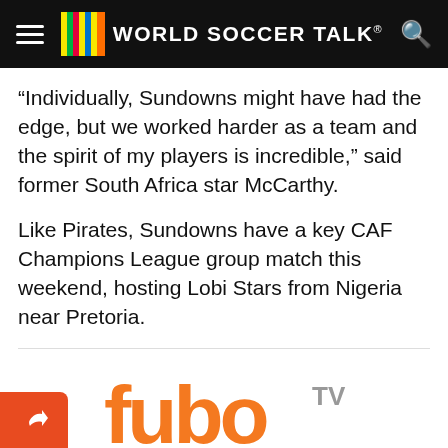WORLD SOCCER TALK
“Individually, Sundowns might have had the edge, but we worked harder as a team and the spirit of my players is incredible,” said former South Africa star McCarthy.
Like Pirates, Sundowns have a key CAF Champions League group match this weekend, hosting Lobi Stars from Nigeria near Pretoria.
[Figure (logo): fuboTV logo in orange with grey TV superscript]
200+ Channels With Sports & News
Starting price: $33/mo. for fubo